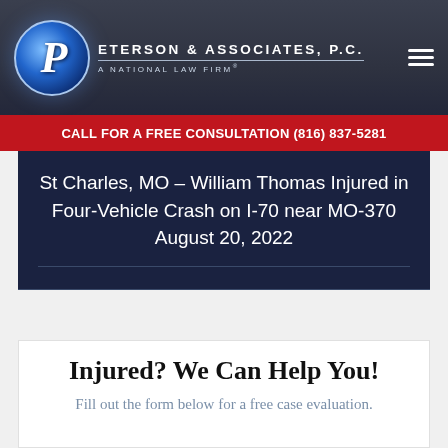[Figure (logo): Peterson & Associates, P.C. law firm logo with globe icon and text 'A National Law Firm']
CALL FOR A FREE CONSULTATION (816) 837-5281
St Charles, MO – William Thomas Injured in Four-Vehicle Crash on I-70 near MO-370 August 20, 2022
Injured? We Can Help You!
Fill out the form below for a free case evaluation.